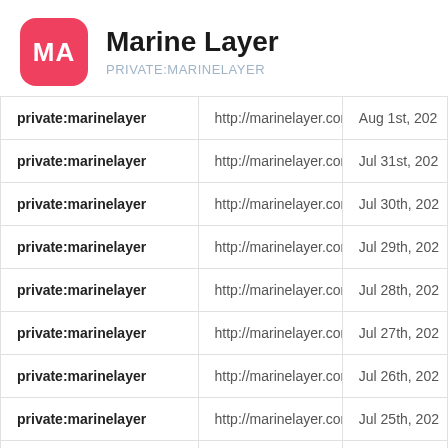Marine Layer
PRIVATE:MARINELAYER
| private:marinelayer | http://marinelayer.com | Aug 1st, 202 |
| private:marinelayer | http://marinelayer.com | Jul 31st, 202 |
| private:marinelayer | http://marinelayer.com | Jul 30th, 202 |
| private:marinelayer | http://marinelayer.com | Jul 29th, 202 |
| private:marinelayer | http://marinelayer.com | Jul 28th, 202 |
| private:marinelayer | http://marinelayer.com | Jul 27th, 202 |
| private:marinelayer | http://marinelayer.com | Jul 26th, 202 |
| private:marinelayer | http://marinelayer.com | Jul 25th, 202 |
| private:marinelayer | http://marinelayer.com | Jul 23rd, 202 |